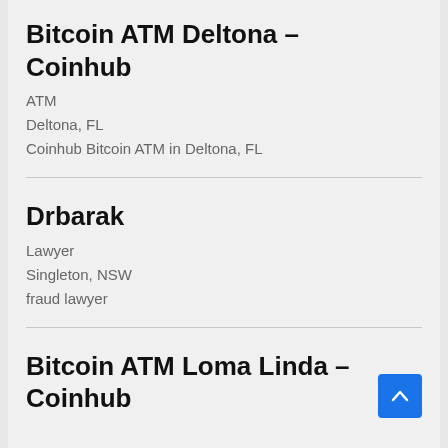Bitcoin ATM Deltona – Coinhub
ATM
Deltona, FL
Coinhub Bitcoin ATM in Deltona, FL
Drbarak
Lawyer
Singleton, NSW
fraud lawyer
Bitcoin ATM Loma Linda – Coinhub